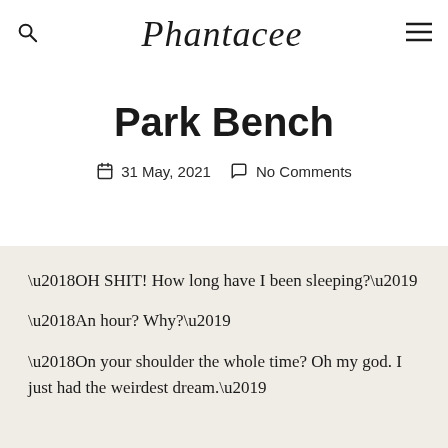Phantacee
Park Bench
31 May, 2021  No Comments
‘OH SHIT! How long have I been sleeping?’
‘An hour? Why?’
‘On your shoulder the whole time? Oh my god. I just had the weirdest dream.’